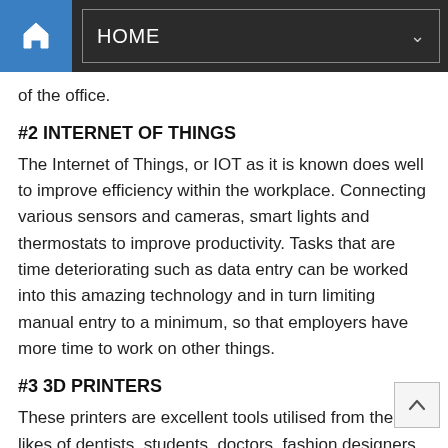HOME
of the office.
#2 INTERNET OF THINGS
The Internet of Things, or IOT as it is known does well to improve efficiency within the workplace. Connecting various sensors and cameras, smart lights and thermostats to improve productivity. Tasks that are time deteriorating such as data entry can be worked into this amazing technology and in turn limiting manual entry to a minimum, so that employers have more time to work on other things.
#3 3D PRINTERS
These printers are excellent tools utilised from the likes of dentists, students, doctors, fashion designers to create prototypes, repairs, architecture models and generally simple, everyday objects. The whole process of 3D printing